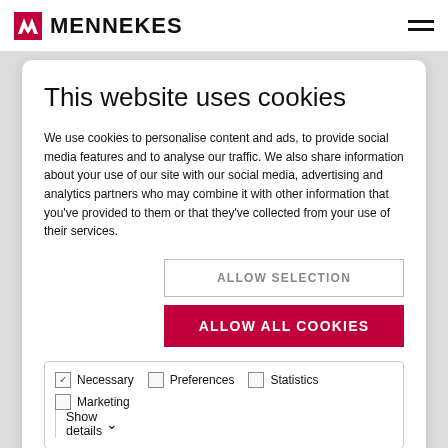MENNEKES
This website uses cookies
We use cookies to personalise content and ads, to provide social media features and to analyse our traffic. We also share information about your use of our site with our social media, advertising and analytics partners who may combine it with other information that you've provided to them or that they've collected from your use of their services.
ALLOW SELECTION
ALLOW ALL COOKIES
Necessary  Preferences  Statistics  Show details  Marketing
Protection type   IP 54